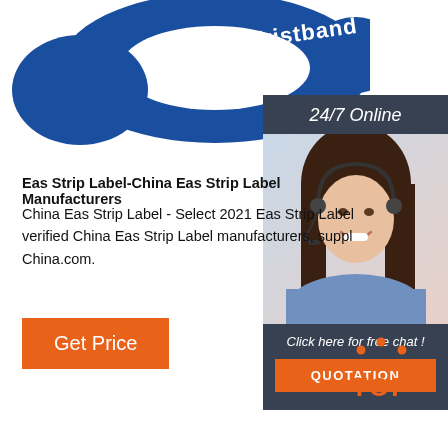[Figure (photo): Blue silicone wristband with white text reading 'Silicone Wristband', shown from above, partial crop at top of page]
[Figure (photo): Dark panel with '24/7 Online' header, photo of smiling woman with headset wearing blue shirt, 'Click here for free chat!' text, and orange QUOTATION button]
Eas Strip Label-China Eas Strip Label Manufacturers
China Eas Strip Label - Select 2021 Eas Strip Label verified China Eas Strip Label manufacturers, suppliers on China.com.
[Figure (other): Orange 'Get Price' button]
[Figure (logo): Orange TOP logo with dots forming an arch above the word TOP in bold orange letters]